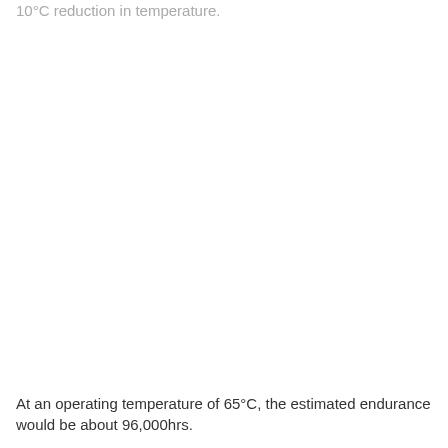10°C reduction in temperature.
At an operating temperature of 65°C, the estimated endurance would be about 96,000hrs.